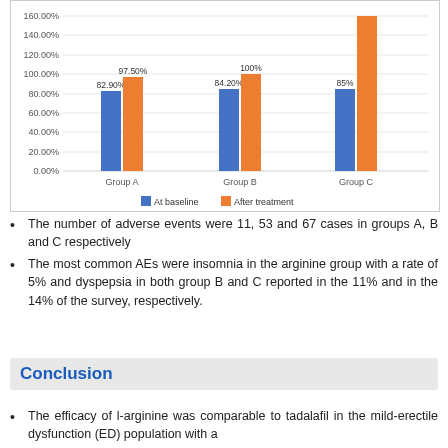[Figure (grouped-bar-chart): ]
The number of adverse events were 11, 53 and 67 cases in groups A, B and C respectively
The most common AEs were insomnia in the arginine group with a rate of 5% and dyspepsia in both group B and C reported in the 11% and in the 14% of the survey, respectively.
Conclusion
The efficacy of l-arginine was comparable to tadalafil in the mild-erectile dysfunction (ED) population with a